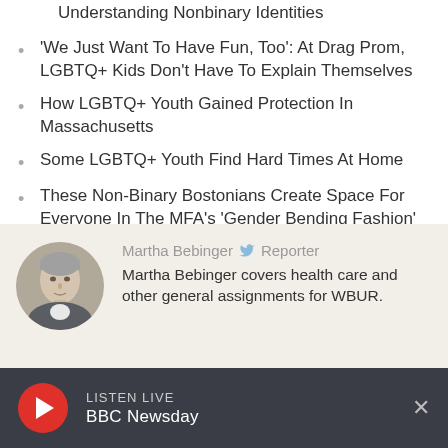Understanding Nonbinary Identities
'We Just Want To Have Fun, Too': At Drag Prom, LGBTQ+ Kids Don't Have To Explain Themselves
How LGBTQ+ Youth Gained Protection In Massachusetts
Some LGBTQ+ Youth Find Hard Times At Home
These Non-Binary Bostonians Create Space For Everyone In The MFA's 'Gender Bending Fashion' Exhibit
[Figure (photo): Circular portrait photo of Martha Bebinger, a woman with short gray hair]
Martha Bebinger Reporter Martha Bebinger covers health care and other general assignments for WBUR.
LISTEN LIVE BBC Newsday